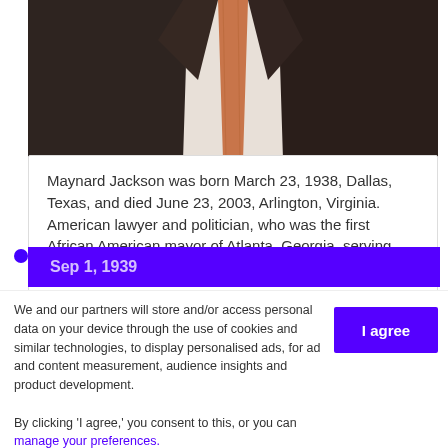[Figure (photo): Partial photo of a person in a dark suit with an orange/salmon tie, cropped showing chest and collar area]
Maynard Jackson was born March 23, 1938, Dallas, Texas, and died June 23, 2003, Arlington, Virginia. American lawyer and politician, who was the first African American mayor of Atlanta, Georgia, serving three terms (1974–82 and 1990–94).
Sep 1, 1939
We and our partners will store and/or access personal data on your device through the use of cookies and similar technologies, to display personalised ads, for ad and content measurement, audience insights and product development.

By clicking 'I agree,' you consent to this, or you can manage your preferences.